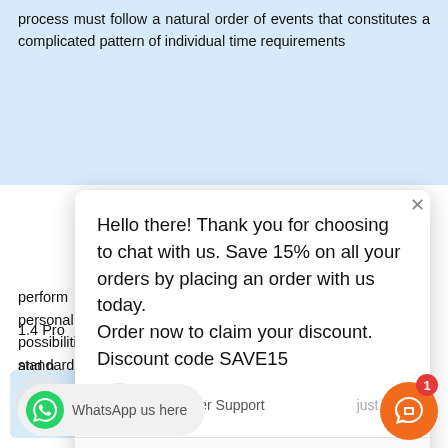process must follow a natural order of events that constitutes a complicated pattern of individual time requirements
[Figure (screenshot): Live chat widget overlay showing a promotional message: 'Hello there! Thank you for choosing to chat with us. Save 15% on all your orders by placing an order with us today. Order now to claim your discount. Discount code SAVE15' from Customer Support, with a text input field and send icons.]
1.4 Pro
and n
To some degree each construction project is unique—no two job structu perform its own particular function, and designed to reflect personal tastes and preferences. The vag and the possibilities for creat utilitarian variation of even the most standardized building
[Figure (screenshot): WhatsApp us here button at bottom left]
[Figure (other): Orange chat bubble icon with notification badge showing 1]